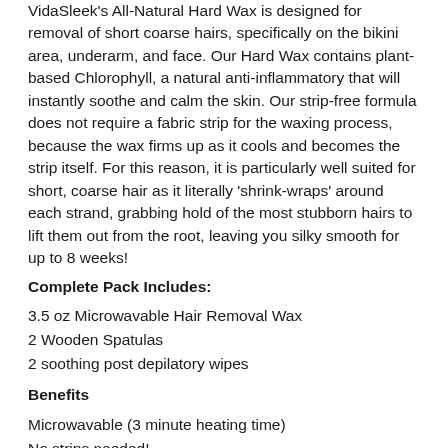VidaSleek's All-Natural Hard Wax is designed for removal of short coarse hairs, specifically on the bikini area, underarm, and face. Our Hard Wax contains plant-based Chlorophyll, a natural anti-inflammatory that will instantly soothe and calm the skin. Our strip-free formula does not require a fabric strip for the waxing process, because the wax firms up as it cools and becomes the strip itself. For this reason, it is particularly well suited for short, coarse hair as it literally 'shrink-wraps' around each strand, grabbing hold of the most stubborn hairs to lift them out from the root, leaving you silky smooth for up to 8 weeks!
Complete Pack Includes:
3.5 oz Microwavable Hair Removal Wax
2 Wooden Spatulas
2 soothing post depilatory wipes
Benefits
Microwavable (3 minute heating time)
No strips needed!